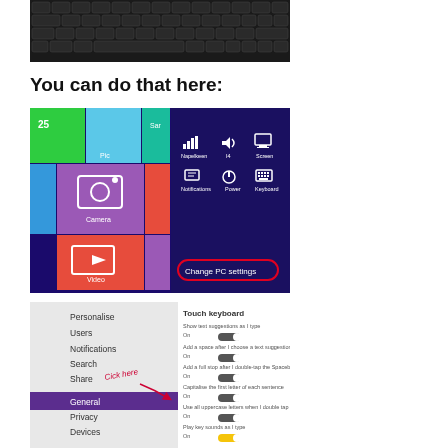[Figure (screenshot): Photo of a laptop keyboard, dark keys on black background]
You can do that here:
[Figure (screenshot): Windows 8 Start screen showing colorful tiles (Camera, Video, Music) and Settings charm panel with options: Napelkeen, I4, Screen, Notifications, Power, Keyboard, and 'Change PC settings' button circled in red]
[Figure (screenshot): Windows 8 PC Settings panel showing Touch keyboard settings on the right, with menu items on left: Personalise, Users, Notifications, Search, Share, General (highlighted in purple), Privacy, Devices, More. Handwritten annotation 'Cick here' with arrow pointing to General.]